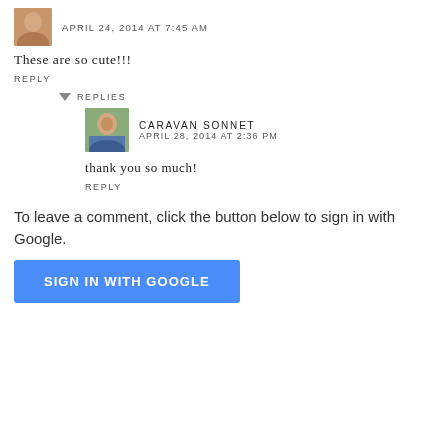[Figure (photo): Small avatar photo of a person, top-left of comment]
APRIL 24, 2014 AT 7:45 AM
These are so cute!!!
REPLY
REPLIES
[Figure (photo): Avatar photo of Caravan Sonnet blogger]
CARAVAN SONNET
APRIL 28, 2014 AT 2:36 PM
thank you so much!
REPLY
To leave a comment, click the button below to sign in with Google.
SIGN IN WITH GOOGLE